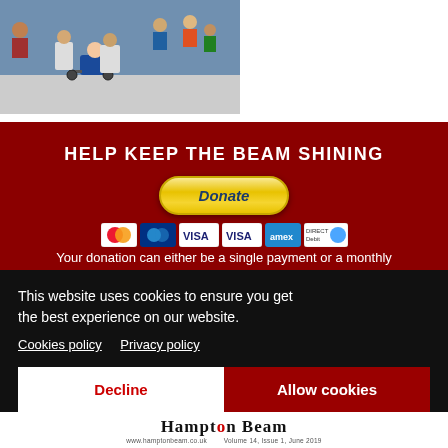[Figure (photo): Photo of a wheelchair race with people pushing participants in wheelchairs, outdoor event]
HELP KEEP THE BEAM SHINING
[Figure (other): PayPal Donate button with payment icons (MasterCard, Maestro, Visa, Visa, American Express, Direct Debit)]
Your donation can either be a single payment or a monthly subscription donation to whatever you can afford. Your donation
This website uses cookies to ensure you get the best experience on our website.
Cookies policy   Privacy policy
Decline   Allow cookies
[Figure (logo): Hampton Beam logo at bottom of page]